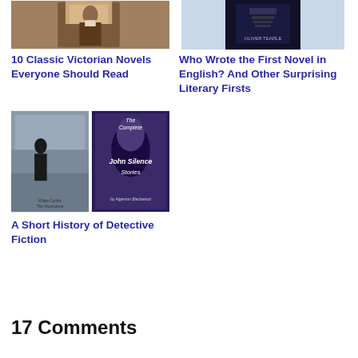[Figure (photo): Photo of a Victorian-era man, likely a portrait]
10 Classic Victorian Novels Everyone Should Read
[Figure (photo): Book cover of a literary history book by Oliver Tearle]
Who Wrote the First Novel in English? And Other Surprising Literary Firsts
[Figure (photo): Two book covers: Wilkie Collins The Moonstone and The Complete John Silence Stories by Algernon Blackwood]
A Short History of Detective Fiction
17 Comments